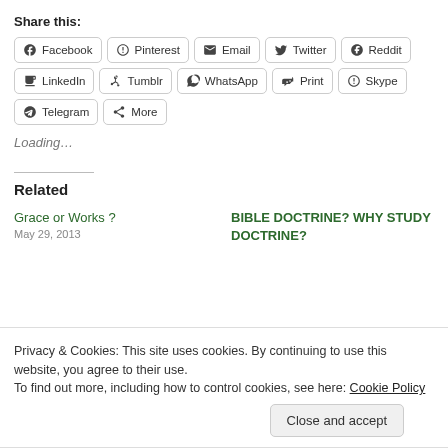Share this:
Facebook  Pinterest  Email  Twitter  Reddit  LinkedIn  Tumblr  WhatsApp  Print  Skype  Telegram  More
Loading…
Related
Grace or Works ?
May 29, 2013
BIBLE DOCTRINE? WHY STUDY DOCTRINE?
Privacy & Cookies: This site uses cookies. By continuing to use this website, you agree to their use.
To find out more, including how to control cookies, see here: Cookie Policy